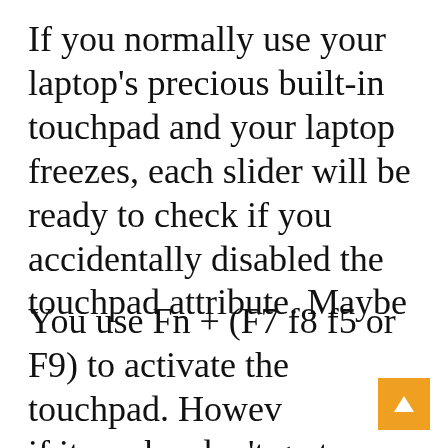If you normally use your laptop's precious built-in touchpad and your laptop freezes, each slider will be ready to check if you accidentally disabled the touchpad attribute. Maybe
You use Fn + (F7 f8 f5 or F9) to activate the touchpad. However if it works, don't go to Control